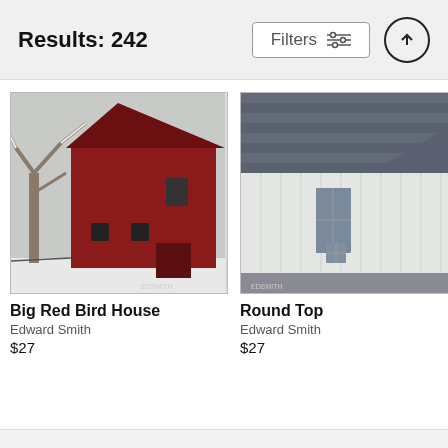Results: 242
Filters
[Figure (photo): Photo of a large red barn in winter with snow-covered branches of a bare tree in the foreground. Photographer watermark visible at bottom right.]
Big Red Bird House
Edward Smith
$27
[Figure (photo): Photo of a white wooden barn close-up showing vertical board siding, a dark blue/grey shingled roof, and a small square window. Photographer watermark visible at bottom left.]
Round Top
Edward Smith
$27